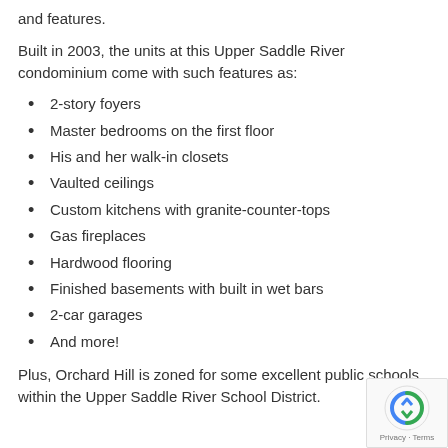and features.
Built in 2003, the units at this Upper Saddle River condominium come with such features as:
2-story foyers
Master bedrooms on the first floor
His and her walk-in closets
Vaulted ceilings
Custom kitchens with granite-counter-tops
Gas fireplaces
Hardwood flooring
Finished basements with built in wet bars
2-car garages
And more!
Plus, Orchard Hill is zoned for some excellent public schools within the Upper Saddle River School District.